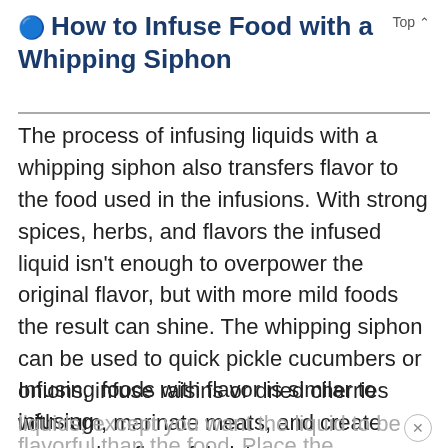How to Infuse Food with a Whipping Siphon
The process of infusing liquids with a whipping siphon also transfers flavor to the food used in the infusions. With strong spices, herbs, and flavors the infused liquid isn't enough to overpower the original flavor, but with more mild foods the result can shine. The whipping siphon can be used to quick pickle cucumbers or onions, infuse raisins or dried cherries with rum, marinate meats, and create many other flavorful dishes.
Infusing foods with flavor is similar to infusing liquids, except you want the liquid to be more flavorful than the food. Place the food and